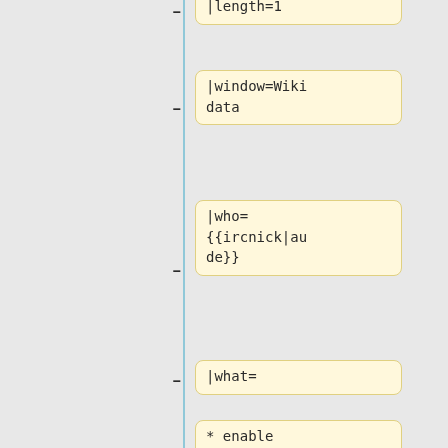|length=1
|window=Wikidata
|who={{ircnick|aude}}
|what=
* enable arbitrary access for enwiki + s2 wikis (bgwiki, eowiki, fiwiki, idwiki, nowiki, plwiki, ptwiki,